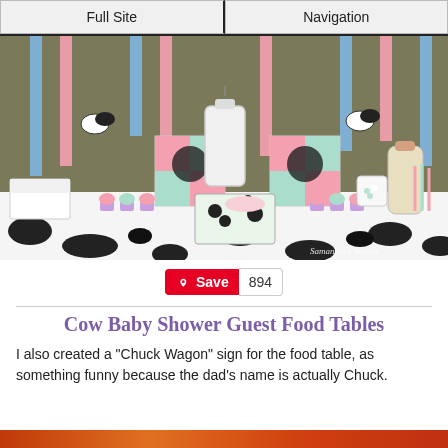Full Site | Navigation
[Figure (photo): Cow-themed baby shower dessert table with black-and-white cow print tablecloth, cupcakes with pink and teal frosting, a milk jar centerpiece, cow print decorations, pink and blue ribbon streamers on a green wall, and a milk bottle. Watermark reads 'Samantha's Sweets'.]
Save  894
Cow Baby Shower Guest Food Tables
I also created a "Chuck Wagon" sign for the food table, as something funny because the dad's name is actually Chuck.